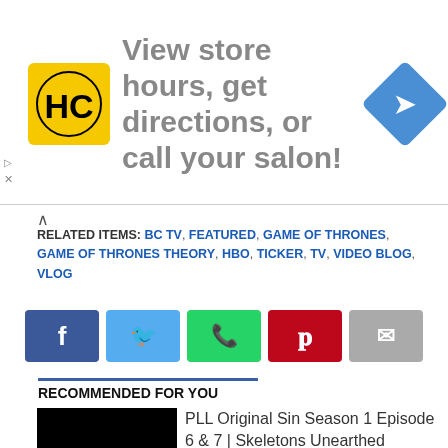[Figure (infographic): Advertisement banner: HC logo (yellow square with HC letters), text 'View store hours, get directions, or call your salon!', blue diamond navigation icon on right. Small triangle/play and X controls on left.]
RELATED ITEMS: BC TV, FEATURED, GAME OF THRONES, GAME OF THRONES THEORY, HBO, TICKER, TV, VIDEO BLOG, VLOG
[Figure (infographic): Social share buttons row: Facebook (blue, f), Twitter (light blue, bird), WhatsApp (green, phone), Pinterest (red, p), Email (gray, envelope)]
RECOMMENDED FOR YOU
[Figure (photo): Black thumbnail image for PLL article]
PLL Original Sin Season 1 Episode 6 & 7 | Skeletons Unearthed
[Figure (photo): Black thumbnail image for Only Murders article]
Only Murders In The Building S2E8 | Glitter Guy Revealed